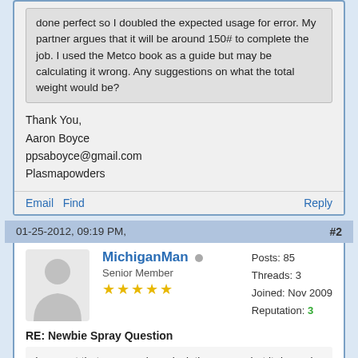done perfect so I doubled the expected usage for error. My partner argues that it will be around 150# to complete the job. I used the Metco book as a guide but may be calculating it wrong. Any suggestions on what the total weight would be?
Thank You,
Aaron Boyce
ppsaboyce@gmail.com
Plasmapowders
Email Find    Reply
01-25-2012, 09:19 PM,    #2
[Figure (illustration): Generic user avatar silhouette icon]
MichiganMan  Senior Member ★★★★★  Posts: 85  Threads: 3  Joined: Nov 2009  Reputation: 3
RE: Newbie Spray Question
I suspect that you may be calculating wrong, but it depends on how thick you are building the coating (30# would be a pretty thin coating). Assuming this is a cathodic protection coating I would arc spray it rather than flame if the customer allows and you have the equipment available.